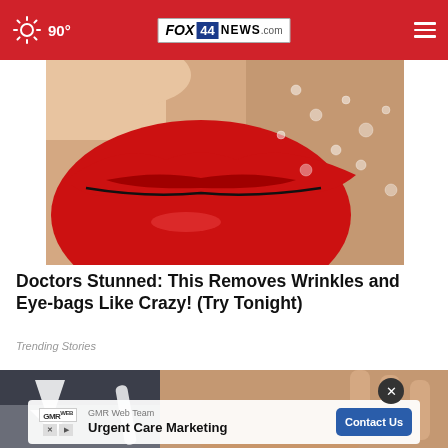90° FOX 44 NEWS.com
[Figure (photo): Close-up of red lips with red lipstick on skin with water droplets]
Doctors Stunned: This Removes Wrinkles and Eye-bags Like Crazy! (Try Tonight)
Trending Stories
[Figure (photo): Hand holding a white object, with a dark background and a white arrow graphic overlay]
GMR Web Team
Urgent Care Marketing
Contact Us